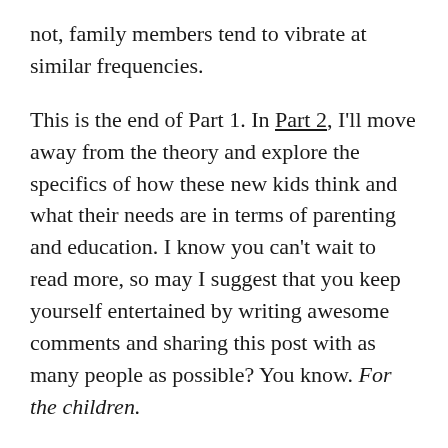not, family members tend to vibrate at similar frequencies.
This is the end of Part 1. In Part 2, I'll move away from the theory and explore the specifics of how these new kids think and what their needs are in terms of parenting and education. I know you can't wait to read more, so may I suggest that you keep yourself entertained by writing awesome comments and sharing this post with as many people as possible? You know. For the children.
Image Credit: http://www.webmastertalkforums.com/lounge/24130-angry-baby-faces.html